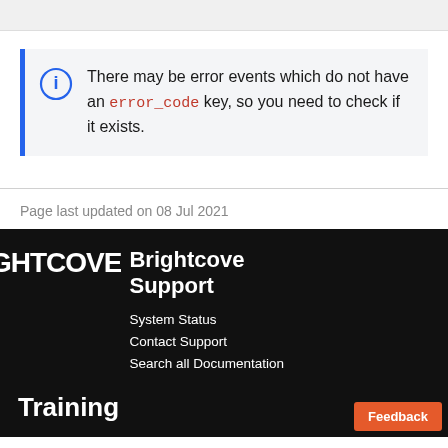There may be error events which do not have an error_code key, so you need to check if it exists.
Page last updated on 08 Jul 2021
Brightcove Support
System Status
Contact Support
Search all Documentation
Training
Feedback